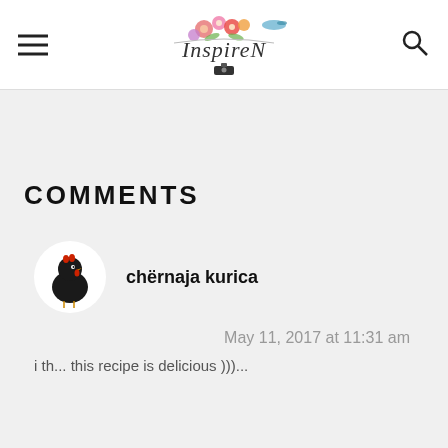InspireN blog logo with hamburger menu and search icon
COMMENTS
chërnaja kurica
May 11, 2017 at 11:31 am
i th... this recipe is delicious )))...